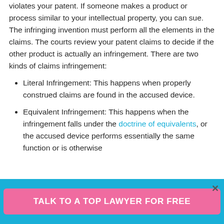violates your patent. If someone makes a product or process similar to your intellectual property, you can sue. The infringing invention must perform all the elements in the claims. The courts review your patent claims to decide if the other product is actually an infringement. There are two kinds of claims infringement:
Literal Infringement: This happens when properly construed claims are found in the accused device.
Equivalent Infringement: This happens when the infringement falls under the doctrine of equivalents, or the accused device performs essentially the same function or is otherwise
TALK TO A TOP LAWYER FOR FREE